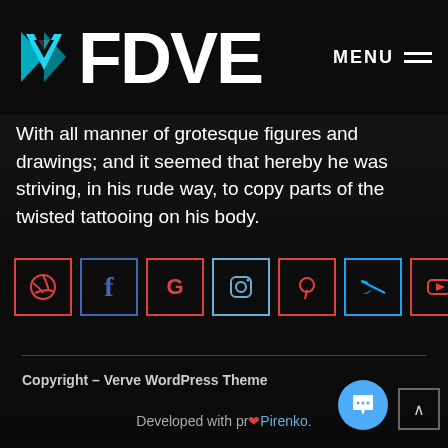FDVE
With all manner of grotesque figures and drawings; and it seemed that hereby he was striving, in his rude way, to copy parts of the twisted tattooing on his body.
[Figure (other): Row of social media icons: Dribbble (red), Facebook (blue), Google (red), Instagram (teal), Pinterest (red), Twitter (light blue), YouTube (red)]
Copyright – Verve WordPress Theme
Developed with pr❤Pirenko.